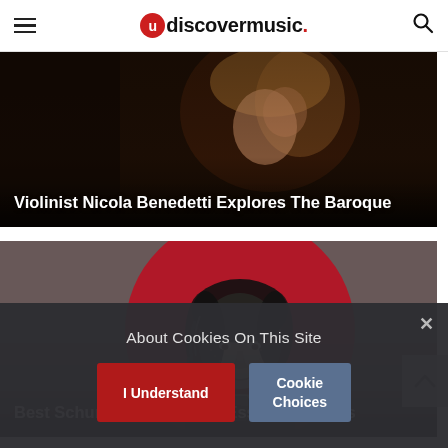udiscovermusic.
[Figure (photo): Dark moody photo of violinist Nicola Benedetti with overlay title text]
Violinist Nicola Benedetti Explores The Baroque
[Figure (illustration): Illustrated portrait of Robert Schumann on a red circular background with grey textured surroundings]
Best Schumann Works: 10 Essential Pieces
About Cookies On This Site
I Understand
Cookie Choices